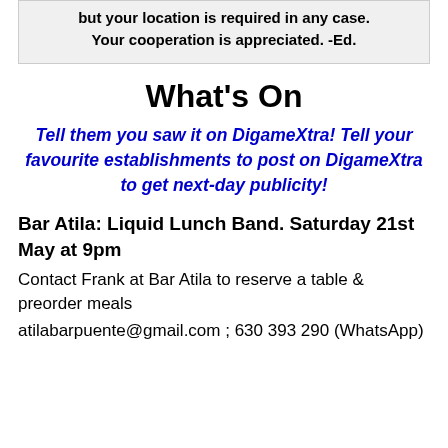but your location is required in any case. Your cooperation is appreciated. -Ed.
What's On
Tell them you saw it on DigameXtra! Tell your favourite establishments to post on DigameXtra to get next-day publicity!
Bar Atila: Liquid Lunch Band. Saturday 21st May at 9pm
Contact Frank at Bar Atila to reserve a table & preorder meals
atilabarpuente@gmail.com ; 630 393 290 (WhatsApp)